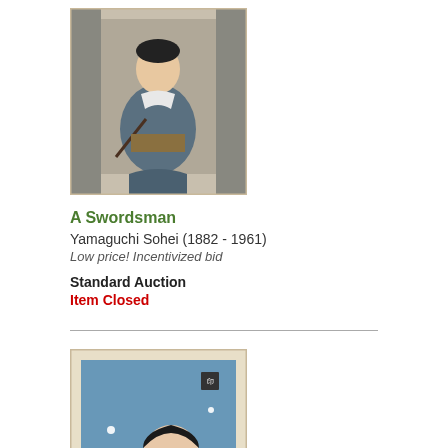[Figure (photo): Japanese woodblock print of a swordsman in traditional clothing holding a weapon, gray background tones]
A Swordsman
Yamaguchi Sohei (1882 - 1961)
Low price! Incentivized bid
Standard Auction
Item Closed
[Figure (photo): Japanese woodblock print of a woman (The Heroine Umekawa) with dark hair against a blue background with white snowflakes]
The Heroine Umekawa, circa 1923
Tsurutomi Kitano (1880 - 1947)